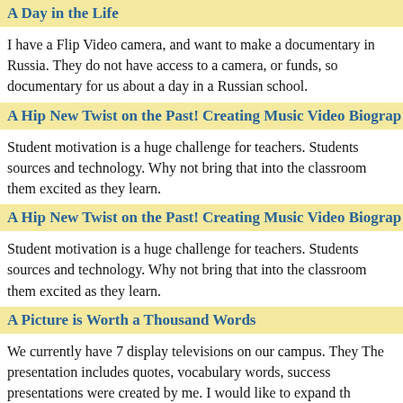A Day in the Life
I have a Flip Video camera, and want to make a documentary in Russia. They do not have access to a camera, or funds, so documentary for us about a day in a Russian school.
A Hip New Twist on the Past! Creating Music Video Biograp
Student motivation is a huge challenge for teachers. Students sources and technology. Why not bring that into the classroom them excited as they learn.
A Hip New Twist on the Past! Creating Music Video Biograp
Student motivation is a huge challenge for teachers. Students sources and technology. Why not bring that into the classroom them excited as they learn.
A Picture is Worth a Thousand Words
We currently have 7 display televisions on our campus. They The presentation includes quotes, vocabulary words, success presentations were created by me. I would like to expand th